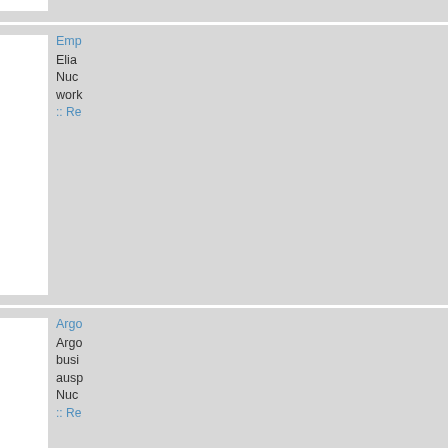fuel generation :: Re...
Jul 13, 2016 8:00 AM
Emp Elia Nuc work :: Re...
Jul 6, 2016 8:00 AM
Argo Argo busi ausp Nuc :: Re...
Jun 17, 2016 8:00 AM
$4M DOE nucl Univ Ene Acc :: Re...